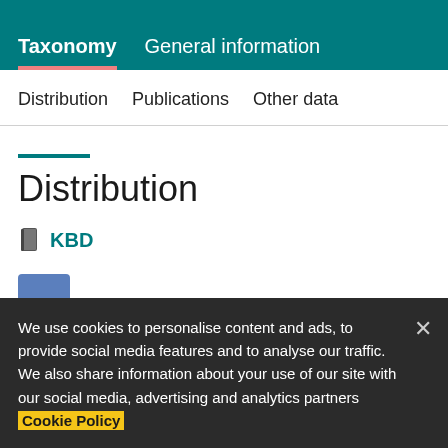Taxonomy   General information
Distribution   Publications   Other data
Distribution
KBD
We use cookies to personalise content and ads, to provide social media features and to analyse our traffic. We also share information about your use of our site with our social media, advertising and analytics partners Cookie Policy